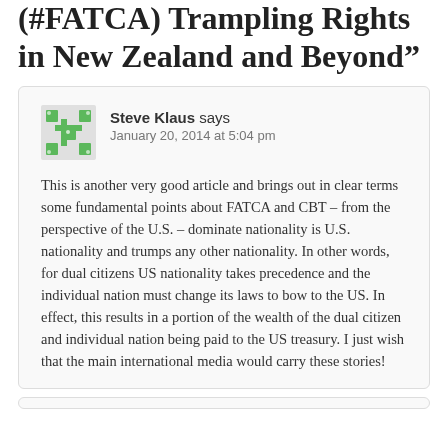(#FATCA) Trampling Rights in New Zealand and Beyond”
Steve Klaus says
January 20, 2014 at 5:04 pm

This is another very good article and brings out in clear terms some fundamental points about FATCA and CBT – from the perspective of the U.S. – dominate nationality is U.S. nationality and trumps any other nationality. In other words, for dual citizens US nationality takes precedence and the individual nation must change its laws to bow to the US. In effect, this results in a portion of the wealth of the dual citizen and individual nation being paid to the US treasury. I just wish that the main international media would carry these stories!